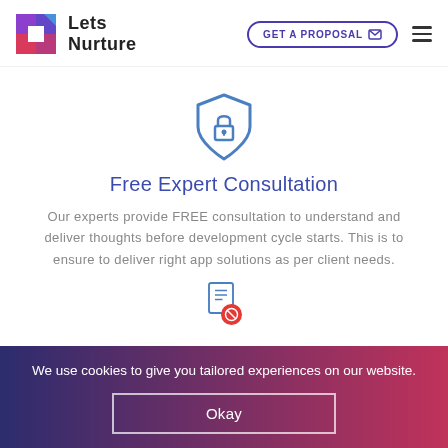[Figure (logo): LetsNurture logo with colorful geometric icon and bold text 'Lets Nurture']
[Figure (other): Navigation bar with 'GET A PROPOSAL' button with mail icon and hamburger menu]
[Figure (illustration): Shield with lock icon in blue outline style]
Free Expert Consultation
Our experts provide FREE consultation to understand and deliver thoughts before development cycle starts. This is to ensure to deliver right app solutions as per client needs.
[Figure (illustration): Document/file icon with red circle, partially visible at bottom]
We use cookies to give you tailored experiences on our website.
Okay